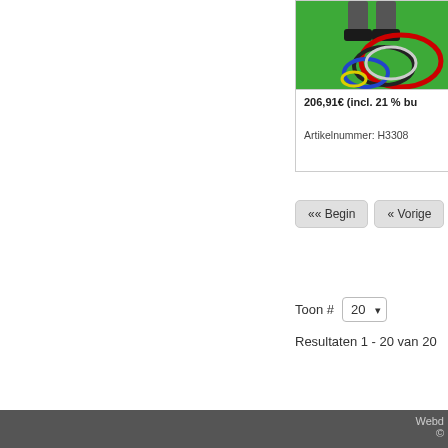[Figure (photo): Product image showing hula hoops on a green background with person's legs visible]
206,91€ (incl. 21 % bu
Artikelnummer: H3308
««  Begin   « Vorige   1
Toon #  20
Resultaten 1 - 20 van 20
Webd
©